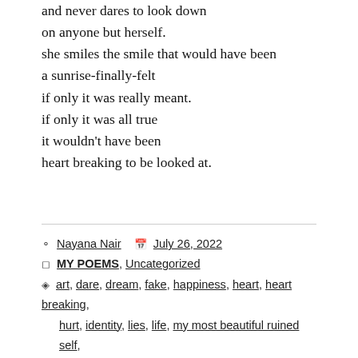and never dares to look down
on anyone but herself.
she smiles the smile that would have been
a sunrise-finally-felt
if only it was really meant.
if only it was all true
it wouldn't have been
heart breaking to be looked at.
Nayana Nair  July 26, 2022
MY POEMS, Uncategorized
art, dare, dream, fake, happiness, heart, heart breaking, hurt, identity, lies, life, my most beautiful ruined self, nayana, nayana nair, nayana nair poem,